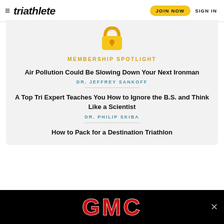triathlete — JOIN NOW  SIGN IN
[Figure (illustration): Gold padlock icon centered above membership spotlight box]
MEMBERSHIP SPOTLIGHT
Air Pollution Could Be Slowing Down Your Next Ironman
DR. JEFFREY SANKOFF
A Top Tri Expert Teaches You How to Ignore the B.S. and Think Like a Scientist
DR. PHILIP SKIBA
How to Pack for a Destination Triathlon
[Figure (logo): GMC advertisement banner — red GMC logo on black background with close button]